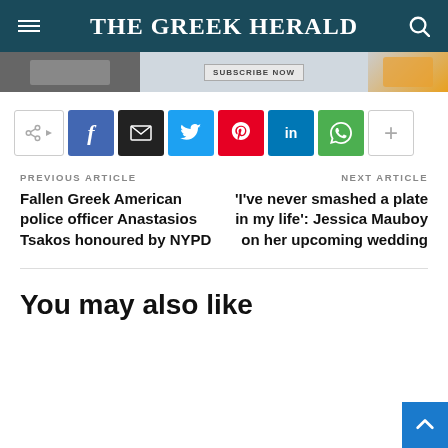THE GREEK HERALD
[Figure (screenshot): Banner advertisement with 'SUBSCRIBE NOW' button]
[Figure (infographic): Social share buttons: share toggle, Facebook, Email, Twitter, Pinterest, LinkedIn, WhatsApp, More]
PREVIOUS ARTICLE
Fallen Greek American police officer Anastasios Tsakos honoured by NYPD
NEXT ARTICLE
'I've never smashed a plate in my life': Jessica Mauboy on her upcoming wedding
You may also like